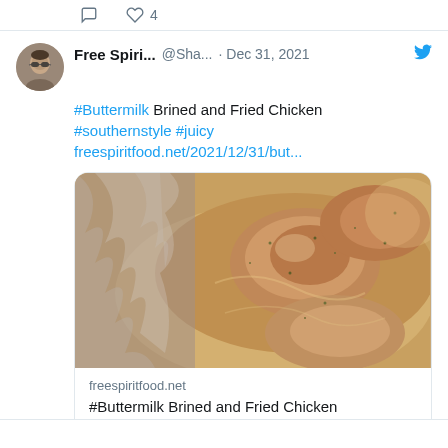[Figure (screenshot): Top portion of previous tweet showing reply/like icons with count 4]
Free Spiri... @Sha... · Dec 31, 2021
#Buttermilk Brined and Fried Chicken #southernstyle #juicy freespiritfood.net/2021/12/31/but...
[Figure (photo): Close-up photo of raw chicken pieces marinating in buttermilk brine, with plastic wrap visible on upper left corner]
freespiritfood.net
#Buttermilk Brined and Fried Chicken #southernstyle #juicy
1  4